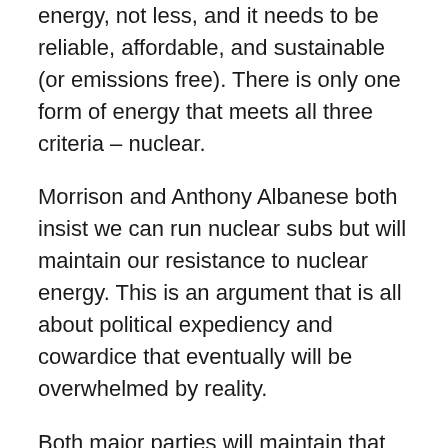energy, not less, and it needs to be reliable, affordable, and sustainable (or emissions free). There is only one form of energy that meets all three criteria – nuclear.
Morrison and Anthony Albanese both insist we can run nuclear subs but will maintain our resistance to nuclear energy. This is an argument that is all about political expediency and cowardice that eventually will be overwhelmed by reality.
Both major parties will maintain that position in lock-step beyond the federal election. But just as the tortured path of politics eventually could not resist the compelling logic of nuclear submarines, the economic, environmental and energy needs of the nation and the world will eventually overwhelm the politics – probably within a decade – and see us choose to develop a domestic nuclear energy